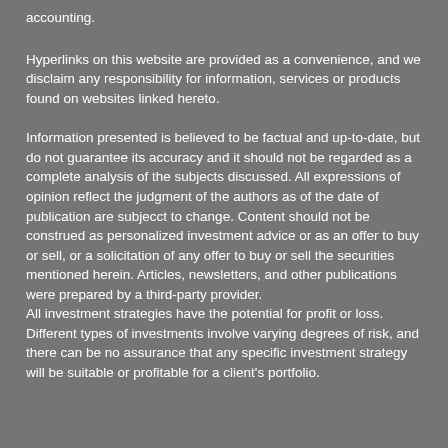accounting.
Hyperlinks on this website are provided as a convenience, and we disclaim any responsibility for information, services or products found on websites linked hereto.
Information presented is believed to be factual and up-to-date, but do not guarantee its accuracy and it should not be regarded as a complete analysis of the subjects discussed.  All expressions of opinion reflect the judgment of the authors as of the date of publication are subjecct to change.  Content should not be construed as personalized investment advice or as an offer to buy or sell, or a solicitation of any offer to buy or sell the securities mentioned herein.  Articles, newsletters, and other publications were prepared by a third-party provider.
All investment strategies have the potential for profit or loss.  Different types of investments involve varying degrees of risk, and there can be no assurance that any specific investment strategy will be suitable or profitable for a client's portfolio.